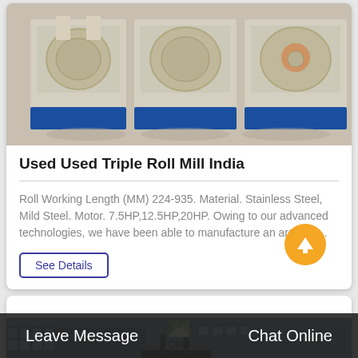[Figure (photo): Photo of industrial Triple Roll Mill machines with cream/beige housing and blue bases, sitting on a factory floor]
Used Used Triple Roll Mill India
Roll Working Length (MM) 224-935. Material. Stainless Steel, Mild Steel. Motor. 7.5HP,12.5HP,20HP. Owing to our advanced technologies, we have been able to manufacture an array of…
See Details
[Figure (screenshot): Chat icon with label 'Chat' and partial building photo below]
Leave Message
Chat Online